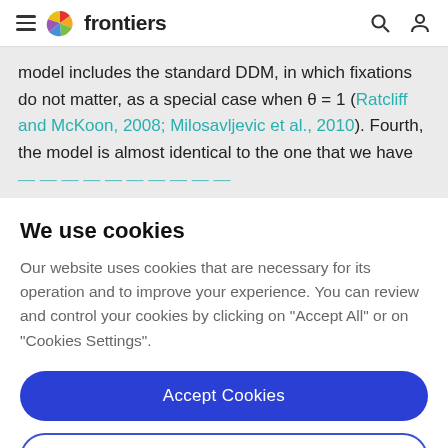frontiers
model includes the standard DDM, in which fixations do not matter, as a special case when θ = 1 (Ratcliff and McKoon, 2008; Milosavljevic et al., 2010). Fourth, the model is almost identical to the one that we have
We use cookies
Our website uses cookies that are necessary for its operation and to improve your experience. You can review and control your cookies by clicking on "Accept All" or on "Cookies Settings".
Accept Cookies
Cookies Settings